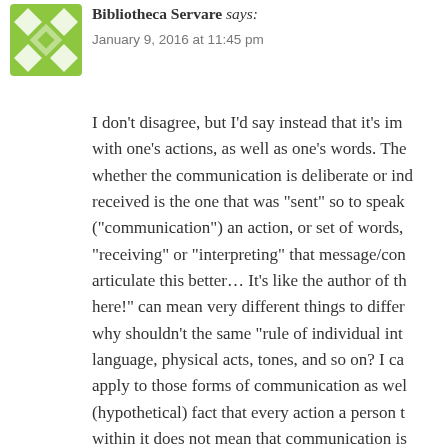[Figure (logo): Green diamond/cross pattern avatar icon for user Bibliotheca Servare]
Bibliotheca Servare says:
January 9, 2016 at 11:45 pm
I don't disagree, but I'd say instead that it's im with one's actions, as well as one's words. The whether the communication is deliberate or ind received is the one that was "sent" so to speak ("communication") an action, or set of words, "receiving" or "interpreting" that message/con articulate this better… It's like the author of th here!" can mean very different things to differ why shouldn't the same "rule of individual int language, physical acts, tones, and so on? I ca apply to those forms of communication as wel (hypothetical) fact that every action a person t within it does not mean that communication is Unless you mean "communication" in a much (Eg, saying that applying a pencil to a page is the page & pencil, etc, etc.) In that case, I'm g